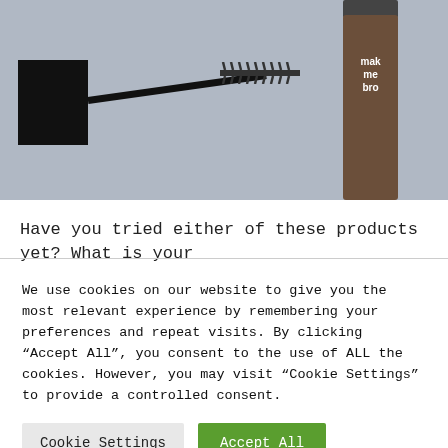[Figure (photo): Close-up photo of a mascara/brow gel wand applicator lying on a light grey-blue surface, with a brown cylindrical product tube labeled 'make me brow' visible in the upper right corner.]
Have you tried either of these products yet? What is your
We use cookies on our website to give you the most relevant experience by remembering your preferences and repeat visits. By clicking “Accept All”, you consent to the use of ALL the cookies. However, you may visit “Cookie Settings” to provide a controlled consent.